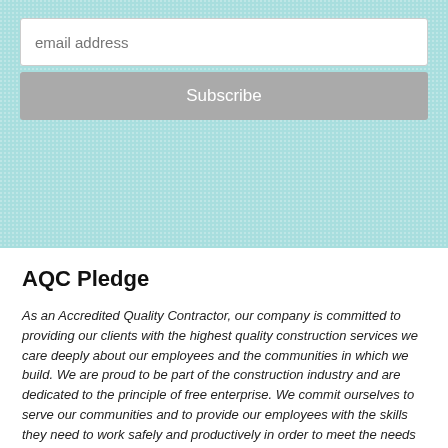[Figure (screenshot): Teal textured background with email address input field and Subscribe button]
AQC Pledge
As an Accredited Quality Contractor, our company is committed to providing our clients with the highest quality construction services we care deeply about our employees and the communities in which we build. We are proud to be part of the construction industry and are dedicated to the principle of free enterprise. We commit ourselves to serve our communities and to provide our employees with the skills they need to work safely and productively in order to meet the needs of our clients.
We are proud to be recognized as Accredited Quality Contractors by the Associated Builders and Contractors, Inc